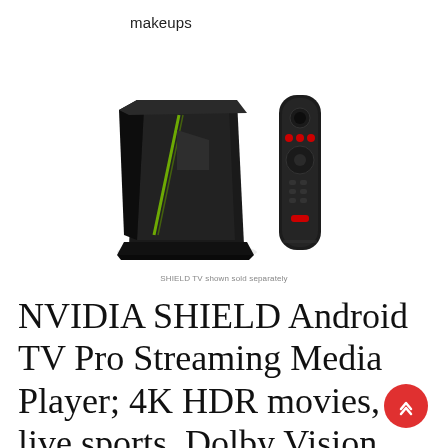makeups
[Figure (photo): NVIDIA SHIELD TV Pro streaming media player device (black triangular form factor with green LED accent) and its accompanying remote control, shown standing upright on a white background. Caption reads: SHIELD TV shown sold separately.]
SHIELD TV shown sold separately
NVIDIA SHIELD Android TV Pro Streaming Media Player; 4K HDR movies, live sports, Dolby Vision Atmos, AI-enhanced upscaling,